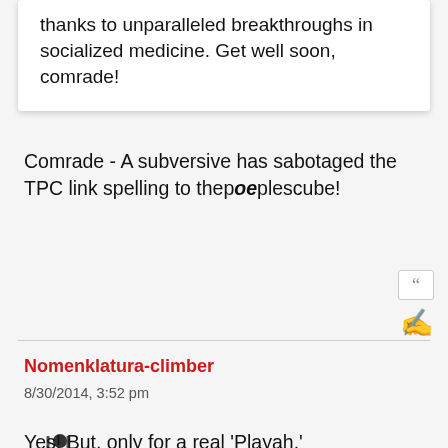thanks to unparalleled breakthroughs in socialized medicine. Get well soon, comrade!
Comrade - A subversive has sabotaged the TPC link spelling to thepoeplescube!
Nomenklatura-climber
8/30/2014, 3:52 pm
[Figure (illustration): Illustration of a red/orange 3D cube-stack with a small figure climbing a ladder on the left side]
Yes! But, only for a real 'Playah.'